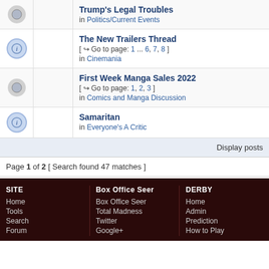Trump's Legal Troubles in Politics/Current Events
The New Trailers Thread [ Go to page: 1 ... 6, 7, 8 ] in Cinemania
First Week Manga Sales 2022 [ Go to page: 1, 2, 3 ] in Comics and Manga Discussion
Samaritan in Everyone's A Critic
Display posts
Page 1 of 2 [ Search found 47 matches ]
Board index
cron
Powered by phpB
Des
SITE Home Tools Search Forum | Box Office Seer Box Office Seer Total Madness Twitter Google+ | DERBY Home Admin Prediction How to Play